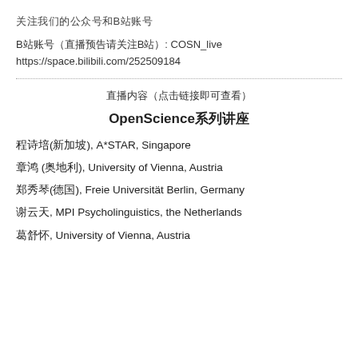关注我们的公众号和B站账号
B站账号（直播预告请关注B站）: COSN_live
https://space.bilibili.com/252509184
直播内容（点击链接即可查看）
OpenScience系列讲座
程诗培(新加坡), A*STAR, Singapore
章鸿 (奥地利), University of Vienna, Austria
郑秀琴(德国), Freie Universität Berlin, Germany
谢云天, MPI Psycholinguistics, the Netherlands
葛舒怀, University of Vienna, Austria